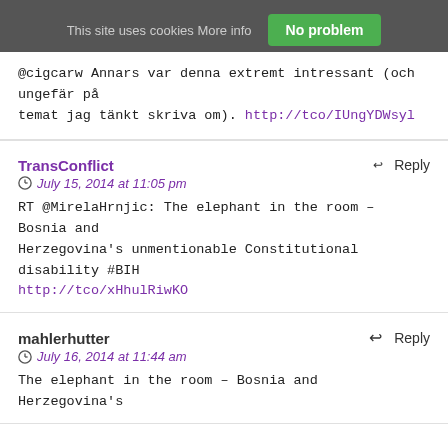This site uses cookies More info  No problem
@cigcarw Annars var denna extremt intressant (och ungefär på temat jag tänkt skriva om). http://tco/IUngYDWsyl
TransConflict
Reply
July 15, 2014 at 11:05 pm
RT @MirelaHrnjic: The elephant in the room – Bosnia and Herzegovina's unmentionable Constitutional disability #BIH http://tco/xHhulRiwKO
mahlerhutter
Reply
July 16, 2014 at 11:44 am
The elephant in the room – Bosnia and Herzegovina's